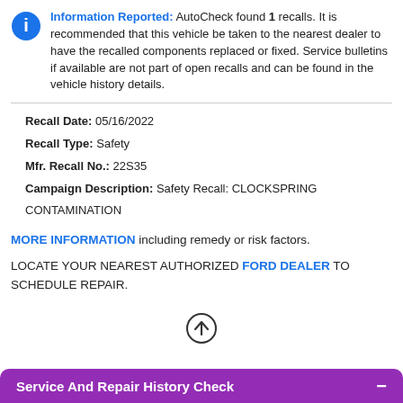Information Reported: AutoCheck found 1 recalls. It is recommended that this vehicle be taken to the nearest dealer to have the recalled components replaced or fixed. Service bulletins if available are not part of open recalls and can be found in the vehicle history details.
Recall Date: 05/16/2022
Recall Type: Safety
Mfr. Recall No.: 22S35
Campaign Description: Safety Recall: CLOCKSPRING CONTAMINATION
MORE INFORMATION including remedy or risk factors.
LOCATE YOUR NEAREST AUTHORIZED FORD DEALER TO SCHEDULE REPAIR.
[Figure (illustration): Circular up-arrow icon (outlined circle with upward arrow inside)]
Service And Repair History Check